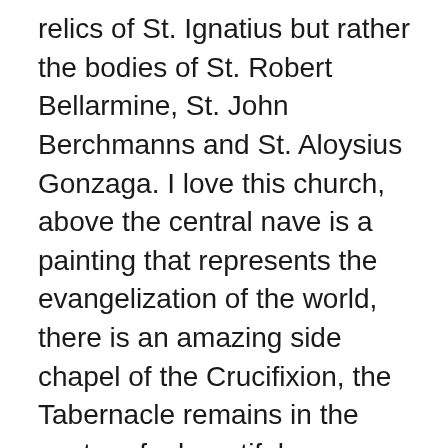relics of St. Ignatius but rather the bodies of St. Robert Bellarmine, St. John Berchmanns and St. Aloysius Gonzaga.  I love this church, above the central nave is a painting that represents the evangelization of the world, there is an amazing side chapel of the Crucifixion, the Tabernacle remains in the center of a beautiful sanctuary and just off in the right side transept is the altar of St. Aloysius under which is his body.  I sat down to do my afternoon mental prayer there.  It was a bit difficult as the church as quite humid and I forgot that the late afternoon is particularly full of visitors and so it was a bit distracting with all the goings on.
Nonetheless it was good to be there and pray and after the time of mental prayer go to the Marian chapel to say my Rosary.  It all made for a great sense of peace in my heart, my mind and my soul.  I walked out into the